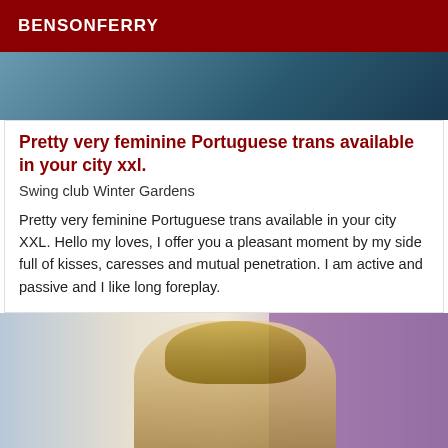BENSONFERRY
[Figure (photo): Top portion of a photo, cropped, showing partial indoor scene with blue/dark tones]
Pretty very feminine Portuguese trans available in your city xxl.
Swing club Winter Gardens
Pretty very feminine Portuguese trans available in your city XXL. Hello my loves, I offer you a pleasant moment by my side full of kisses, caresses and mutual penetration. I am active and passive and I like long foreplay.
[Figure (photo): Selfie photo of a blonde woman taking a mirror photo in a bathroom/bedroom setting with purple wall visible]